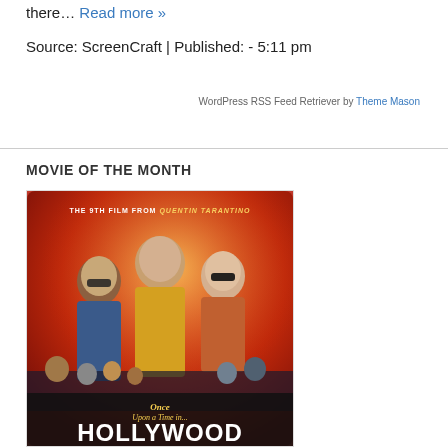there… Read more »
Source: ScreenCraft | Published: - 5:11 pm
WordPress RSS Feed Retriever by Theme Mason
MOVIE OF THE MONTH
[Figure (photo): Movie poster for 'Once Upon a Time in... Hollywood', the 9th film from Quentin Tarantino, featuring three main cast members against an orange-red background with the film title at the bottom.]